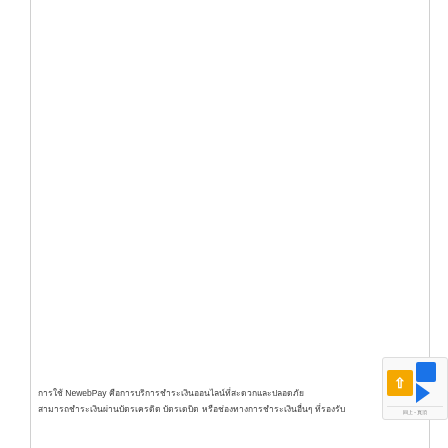การใช้ NewebPay คือการบริการชำระเงินออนไลน์ที่สะดวกและปลอดภัย
สามารถชำระเงินผ่านบัตรเครดิต บัตรเดบิต หรือช่องทางการชำระเงินอื่นๆ ที่รองรับ